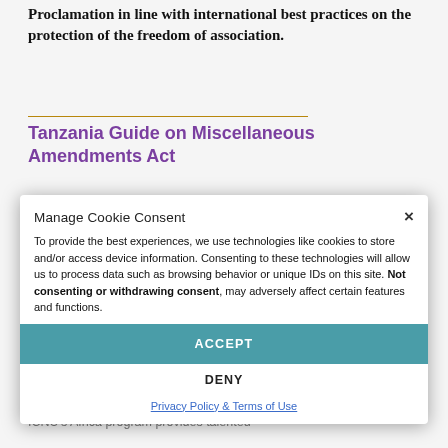Proclamation in line with international best practices on the protection of the freedom of association.
Tanzania Guide on Miscellaneous Amendments Act
This Guide aims to help Tanzanian civil society organizations understand and comply with the obligations related to the Miscellaneous Amendments (Non-Governmental Organizations) Act, the NGO Compliance Regulations, the National Policy on NGOs, the Non-Governmental Organizations Act, the Societies Act, and the Companies Act.
Manage Cookie Consent
To provide the best experiences, we use technologies like cookies to store and/or access device information. Consenting to these technologies will allow us to process data such as browsing behavior or unique IDs on this site. Not consenting or withdrawing consent, may adversely affect certain features and functions.
ACCEPT
DENY
Privacy Policy & Terms of Use
Zimbabwe Guide on Maintenance of Peace and Order Act
ICNU's Africa program provides talented